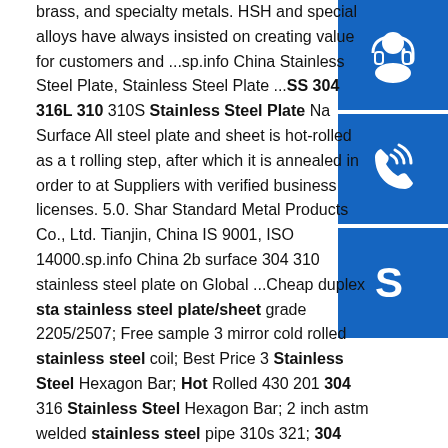brass, and specialty metals. HSH and special alloys have always insisted on creating value for customers and ...sp.info China Stainless Steel Plate, Stainless Steel Plate ...SS 304 316L 310 310S Stainless Steel Plate Na Surface All steel plate and sheet is hot-rolled as a t rolling step, after which it is annealed in order to at Suppliers with verified business licenses. 5.0. Shar Standard Metal Products Co., Ltd. Tianjin, China IS 9001, ISO 14000.sp.info China 2b surface 304 310 stainless steel plate on Global ...Cheap duplex stainless steel plate/sheet grade 2205/2507; Free sample 3 mirror cold rolled stainless steel coil; Best Price 3 Stainless Steel Hexagon Bar; Hot Rolled 430 201 304 316 Stainless Steel Hexagon Bar; 2 inch astm welded stainless steel pipe 310s 321; 304 hot selling 302 stainless steel u channels c channel
China Seamless Steel Tube manufacturer, High Pressure ...